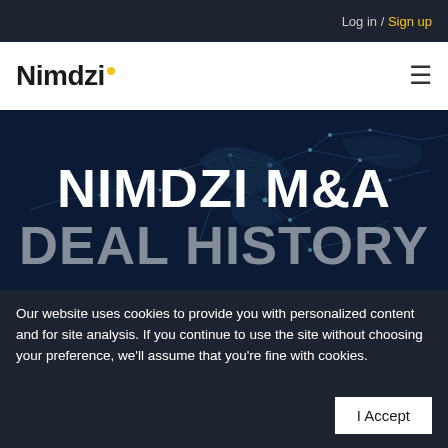Log in / Sign up
[Figure (logo): Nimdzi logo with yellow dot above the i, followed by hamburger menu icon]
[Figure (illustration): Dark blue world map with glowing network lines and nodes connecting cities across continents]
NIMDZI M&A DEAL HISTORY
Our website uses cookies to provide you with personalized content and for site analysis. If you continue to use the site without choosing your preference, we'll assume that you're fine with cookies.
I Accept